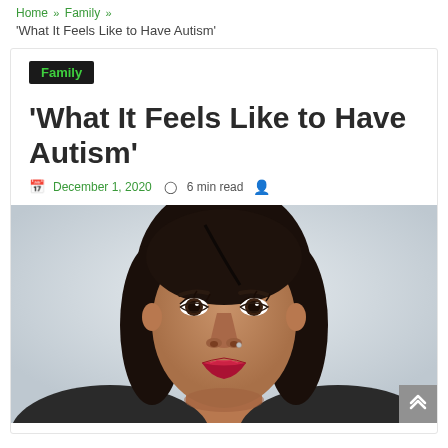Home » Family » 'What It Feels Like to Have Autism'
Family
'What It Feels Like to Have Autism'
December 1, 2020  6 min read
[Figure (photo): Close-up portrait of a young woman with dark hair pulled back, looking directly at the camera with a neutral expression, wearing red lipstick and a small nose piercing. Light gray background.]